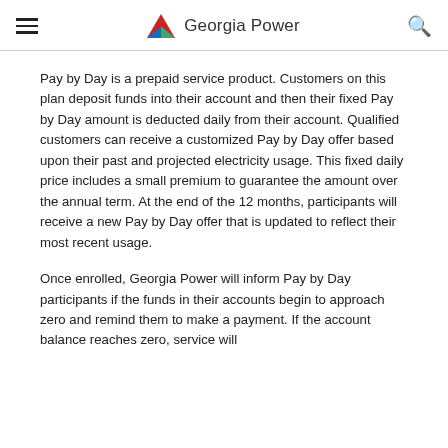Georgia Power
Pay by Day is a prepaid service product. Customers on this plan deposit funds into their account and then their fixed Pay by Day amount is deducted daily from their account. Qualified customers can receive a customized Pay by Day offer based upon their past and projected electricity usage. This fixed daily price includes a small premium to guarantee the amount over the annual term. At the end of the 12 months, participants will receive a new Pay by Day offer that is updated to reflect their most recent usage.
Once enrolled, Georgia Power will inform Pay by Day participants if the funds in their accounts begin to approach zero and remind them to make a payment. If the account balance reaches zero, service will...